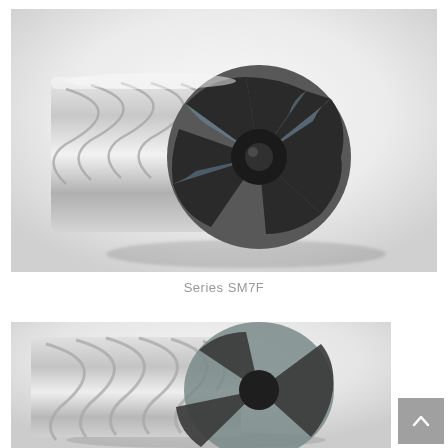[Figure (photo): Close-up photograph of a Series SM7F carbide end mill tool with multiple spiral flutes and dark-coated cutting edges, shown on a light gray background.]
Series SM7F
[Figure (photo): Partial photograph of another end mill tool with spiral flutes, light-colored coating, shown on a light gray background. Partially cropped at bottom of page.]